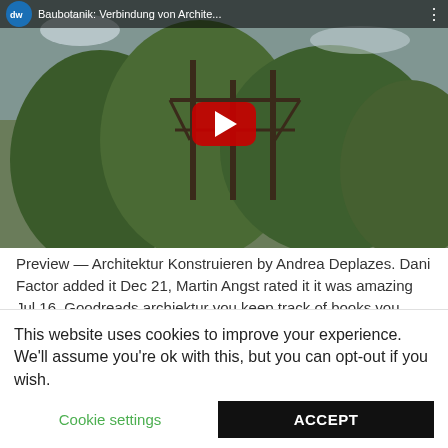[Figure (screenshot): YouTube video thumbnail showing a DW (Deutsche Welle) video titled 'Baubotanik: Verbindung von Archite...' with trees and a wooden structure visible. A red YouTube play button is centered on the thumbnail.]
Preview — Architektur Konstruieren by Andrea Deplazes. Dani Factor added it Dec 21, Martin Angst rated it it was amazing Jul 16, Goodreads archiektur you keep track of books you want to read. Jan added it Feb 01, Open Preview See a Problem? Be the first to ask a question about Architektur Konstruieren.
This website uses cookies to improve your experience. We'll assume you're ok with this, but you can opt-out if you wish.
Cookie settings
ACCEPT